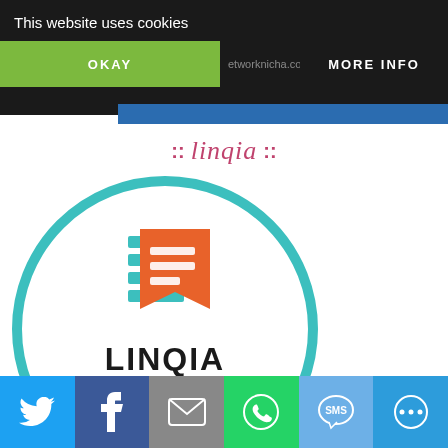This website uses cookies
OKAY
MORE INFO
:: linqia ::
[Figure (logo): LINQIA Influencer circular logo with teal border, orange and teal layered document icon above bold text LINQIA Influencer]
:: dealspotr influencer ::
[Figure (infographic): Social sharing bar with Twitter, Facebook, Email, WhatsApp, SMS, and More buttons]